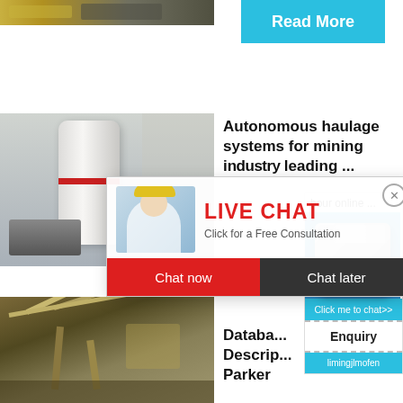[Figure (photo): Top strip image of industrial/mining equipment]
Read More
[Figure (photo): Industrial ball mill in a factory]
Autonomous haulage systems for mining industry leading ...
[Figure (photo): Live Chat popup overlay with workers in hard hats. Title: LIVE CHAT. Subtitle: Click for a Free Consultation. Buttons: Chat now / Chat later]
[Figure (photo): Right sidebar widget: crusher machine image with blue background, hour online text, Click me to chat>>, Enquiry, limingjlmofen buttons]
[Figure (photo): Mining crane/excavator equipment at bottom left]
Database Description Parker